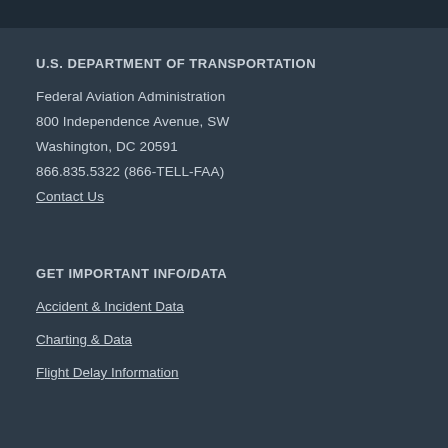U.S. DEPARTMENT OF TRANSPORTATION
Federal Aviation Administration
800 Independence Avenue, SW
Washington, DC 20591
866.835.5322 (866-TELL-FAA)
Contact Us
GET IMPORTANT INFO/DATA
Accident & Incident Data
Charting & Data
Flight Delay Information